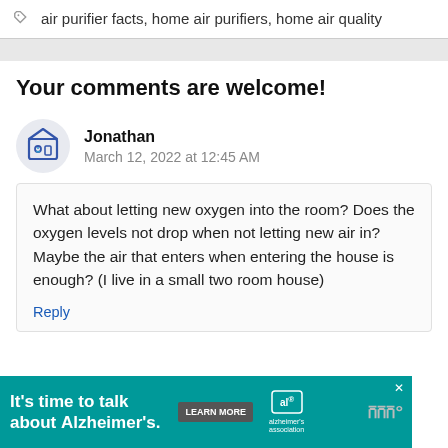air purifier facts, home air purifiers, home air quality
Your comments are welcome!
Jonathan
March 12, 2022 at 12:45 AM
What about letting new oxygen into the room? Does the oxygen levels not drop when not letting new air in? Maybe the air that enters when entering the house is enough? (I live in a small two room house)
Reply
[Figure (infographic): Advertisement banner: It's time to talk about Alzheimer's. with Learn More button and Alzheimer's Association logo]